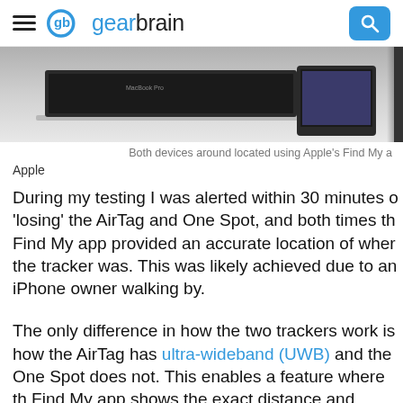gearbrain
[Figure (photo): Partial image of Apple MacBook and tablet/phone showing Apple's Find My app, cropped at right edge]
Both devices around located using Apple's Find My a
Apple
During my testing I was alerted within 30 minutes o 'losing' the AirTag and One Spot, and both times th Find My app provided an accurate location of wher the tracker was. This was likely achieved due to an iPhone owner walking by.
The only difference in how the two trackers work is how the AirTag has ultra-wideband (UWB) and the One Spot does not. This enables a feature where th Find My app shows the exact distance and direction